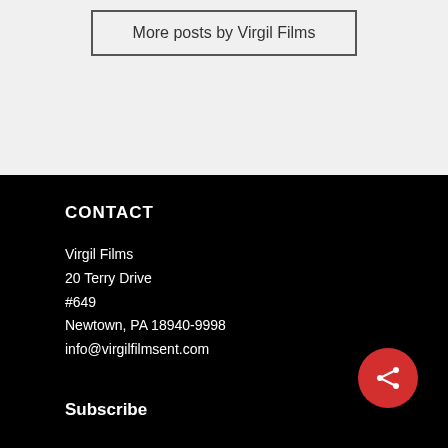More posts by Virgil Films
CONTACT
Virgil Films
20 Terry Drive
#649
Newtown, PA 18940-9998
info@virgilfilmsent.com
Subscribe